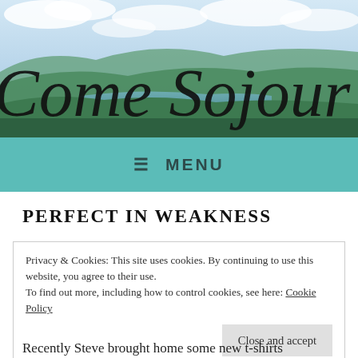[Figure (photo): Scenic lake and forested hills landscape with blue sky and clouds, header image for 'Come Sojourn' blog. Cursive handwritten text 'Come Sojourn' overlaid on the landscape photo.]
≡  MENU
PERFECT IN WEAKNESS
Privacy & Cookies: This site uses cookies. By continuing to use this website, you agree to their use.
To find out more, including how to control cookies, see here: Cookie Policy
[Close and accept]
Recently Steve brought home some new t-shirts